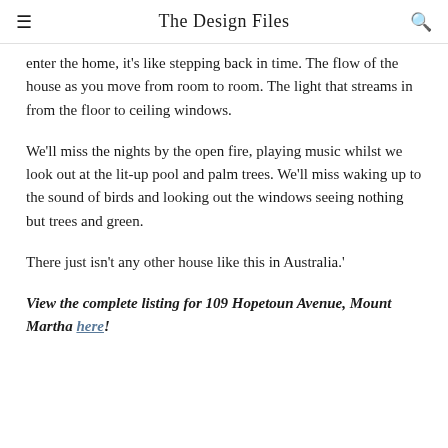The Design Files
enter the home, it's like stepping back in time. The flow of the house as you move from room to room. The light that streams in from the floor to ceiling windows.
We'll miss the nights by the open fire, playing music whilst we look out at the lit-up pool and palm trees. We'll miss waking up to the sound of birds and looking out the windows seeing nothing but trees and green.
There just isn't any other house like this in Australia.'
View the complete listing for 109 Hopetoun Avenue, Mount Martha here!